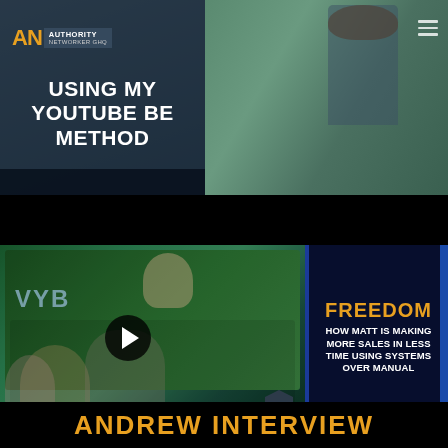[Figure (screenshot): Top-left video thumbnail showing text overlay: USING MY YOUTUBE METHOD with AN authority networker brand logo]
USING MY YOUTUBE METHOD
[Figure (photo): Top-right photo of a person standing outdoors near a pool area]
[Figure (screenshot): Main video thumbnail showing a family (man, woman, two children) in front of a bounce house with play button. Text overlay reads: FREEDOM - HOW MATT IS MAKING MORE SALES IN LESS TIME USING SYSTEMS OVER MANUAL]
FREEDOM HOW MATT IS MAKING MORE SALES IN LESS TIME USING SYSTEMS OVER MANUAL
ANDREW INTERVIEW